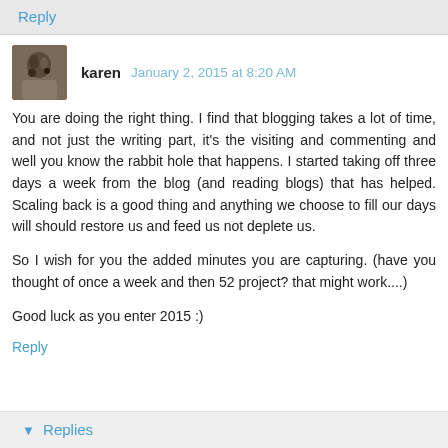Reply
karen  January 2, 2015 at 8:20 AM
You are doing the right thing. I find that blogging takes a lot of time, and not just the writing part, it's the visiting and commenting and well you know the rabbit hole that happens. I started taking off three days a week from the blog (and reading blogs) that has helped. Scaling back is a good thing and anything we choose to fill our days will should restore us and feed us not deplete us.

So I wish for you the added minutes you are capturing. (have you thought of once a week and then 52 project? that might work....)

Good luck as you enter 2015 :)
Reply
▼ Replies